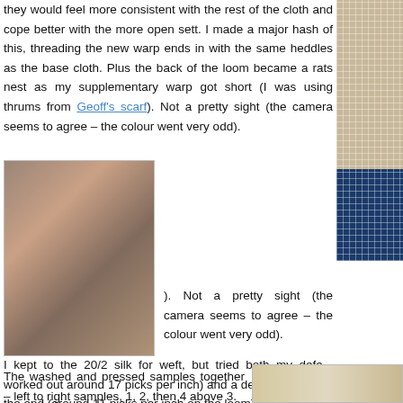they would feel more consistent with the rest of the cloth and cope better with the more open sett. I made a major hash of this, threading the new warp ends in with the same heddles as the base cloth. Plus the back of the loom became a rats nest as my supplementary warp got short (I was using thrums from Geoff's scarf). Not a pretty sight (the camera seems to agree – the colour went very odd).
[Figure (photo): Close-up of a loom showing warp threads and heddles with tangled supplementary warp]
[Figure (photo): Fabric sample showing open weave grid pattern in beige/white with dark blue section at bottom]
I kept to the 20/2 silk for weft, but tried both my defa... worked out around 17 picks per inch) and a deliber... towards the end (around 11 picks per inch on the loom).
The washed and pressed samples together – left to right samples, 1, 2, then 4 above 3.
All have good definition of the design, with the brown float/white background/mixed plain weave
[Figure (photo): Washed and pressed fabric samples showing weave patterns, left to right samples 1, 2, 4 above 3]